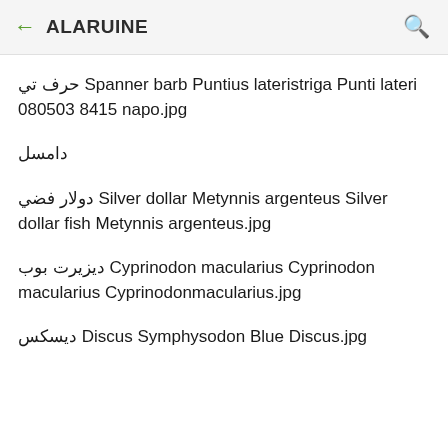ALARUINE
حرف تي Spanner barb Puntius lateristriga Punti lateri 080503 8415 napo.jpg
دامسل
دولار فضي Silver dollar Metynnis argenteus Silver dollar fish Metynnis argenteus.jpg
ديزيرت بوب Cyprinodon macularius Cyprinodon macularius Cyprinodonmacularius.jpg
ديسكس Discus Symphysodon Blue Discus.jpg